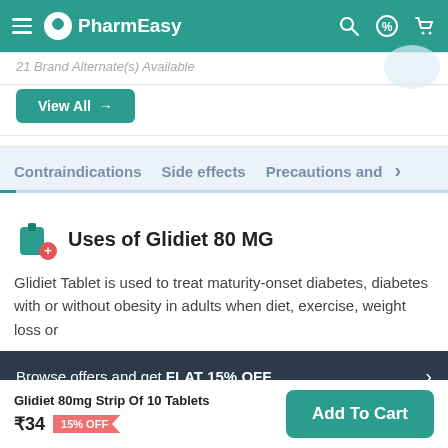PharmEasy
21 Brand Alternate(s) Available
View All →
Contraindications   Side effects   Precautions and  >
Uses of Glidiet 80 MG
Glidiet Tablet is used to treat maturity-onset diabetes, diabetes with or without obesity in adults when diet, exercise, weight loss or
Browse offers and get FLAT 15% OFF  >
Glidiet 80mg Strip Of 10 Tablets ₹34  15% OFF
Add To Cart